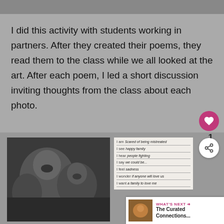[Figure (photo): Top banner area showing partial images, gray background]
I did this activity with students working in partners. After they created their poems, they read them to the class while we all looked at the art. After each poem, I led a short discussion inviting thoughts from the class about each photo.
[Figure (photo): Black and white photograph of children with distressed expressions, two children in foreground]
[Figure (other): Student handwritten poem worksheet with fill-in lines: I am (scared of being mistreated), I see (happy family), I hear (people fighting), I say (we could be...), I feel (sadness), I wonder (if anyone will love us), I want (a family to love me)]